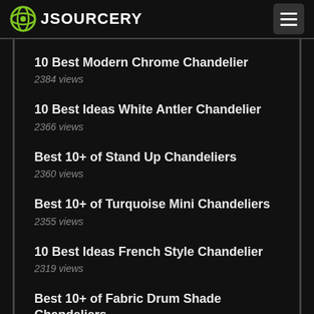JSOURCERY
10 Best Modern Chrome Chandelier
2384 views
10 Best Ideas White Antler Chandelier
2366 views
Best 10+ of Stand Up Chandeliers
2360 views
Best 10+ of Turquoise Mini Chandeliers
2355 views
10 Best Ideas French Style Chandelier
2319 views
Best 10+ of Fabric Drum Shade Chandeliers